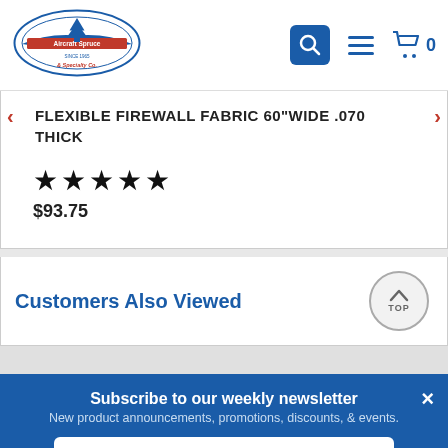[Figure (logo): Aircraft Spruce & Specialty Co. logo with airplane and tree emblem, 'Since 1965']
FLEXIBLE FIREWALL FABRIC 60"WIDE .070 THICK
★★★★★
$93.75
Customers Also Viewed
Subscribe to our weekly newsletter
New product announcements, promotions, discounts, & events.
Email Address